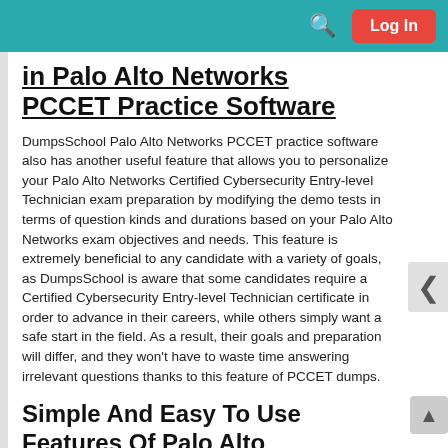Log In
in Palo Alto Networks PCCET Practice Software
DumpsSchool Palo Alto Networks PCCET practice software also has another useful feature that allows you to personalize your Palo Alto Networks Certified Cybersecurity Entry-level Technician exam preparation by modifying the demo tests in terms of question kinds and durations based on your Palo Alto Networks exam objectives and needs. This feature is extremely beneficial to any candidate with a variety of goals, as DumpsSchool is aware that some candidates require a Certified Cybersecurity Entry-level Technician certificate in order to advance in their careers, while others simply want a safe start in the field. As a result, their goals and preparation will differ, and they won't have to waste time answering irrelevant questions thanks to this feature of PCCET dumps.
Simple And Easy To Use Features Of Palo Alto